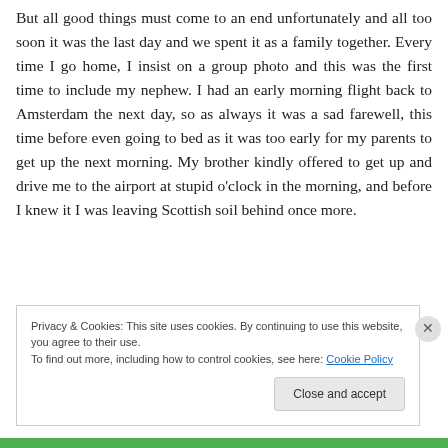But all good things must come to an end unfortunately and all too soon it was the last day and we spent it as a family together. Every time I go home, I insist on a group photo and this was the first time to include my nephew. I had an early morning flight back to Amsterdam the next day, so as always it was a sad farewell, this time before even going to bed as it was too early for my parents to get up the next morning. My brother kindly offered to get up and drive me to the airport at stupid o'clock in the morning, and before I knew it I was leaving Scottish soil behind once more.
Privacy & Cookies: This site uses cookies. By continuing to use this website, you agree to their use.
To find out more, including how to control cookies, see here: Cookie Policy